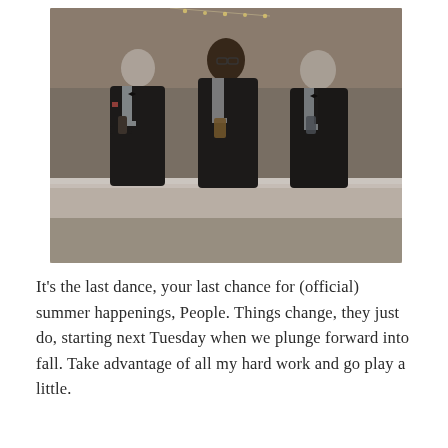[Figure (photo): Three men in formal black tuxedos holding drinks, standing in front of a white bar counter in an event venue with string lights in the background.]
It's the last dance, your last chance for (official) summer happenings, People. Things change, they just do, starting next Tuesday when we plunge forward into fall. Take advantage of all my hard work and go play a little.